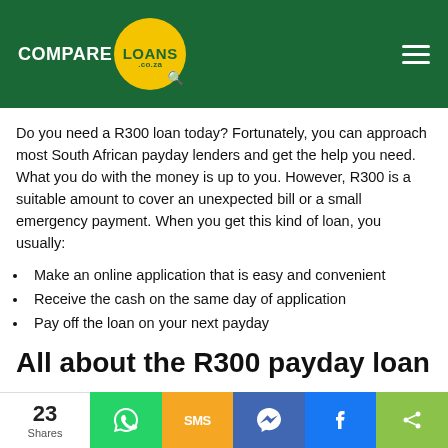[Figure (logo): CompareLoans.co.za logo with green background, yellow circle, and hamburger menu icon]
Do you need a R300 loan today? Fortunately, you can approach most South African payday lenders and get the help you need. What you do with the money is up to you. However, R300 is a suitable amount to cover an unexpected bill or a small emergency payment. When you get this kind of loan, you usually:
Make an online application that is easy and convenient
Receive the cash on the same day of application
Pay off the loan on your next payday
All about the R300 payday loan
A R300 payday loan is a short-term unsecured loan meant to help you cover emergency cash needs until you get your salary. It is a high-cost loan that usually charges a lot of interest. Unlike most loans, the repayment period for a payday loan is quite short. As the
23 Shares